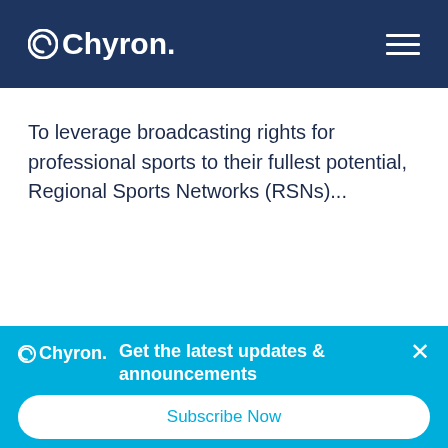Chyron
To leverage broadcasting rights for professional sports to their fullest potential, Regional Sports Networks (RSNs)...
This website stores cookies on your computer. These cookies are used to improve your website and provide more personalized services to you, both on this website and through other media. To fi...
[Figure (screenshot): Chyron subscribe popup with cyan background showing logo, 'Get the latest updates & announcements' heading, close button, and 'Subscribe Now' button]
Get the latest updates & announcements
Subscribe Now